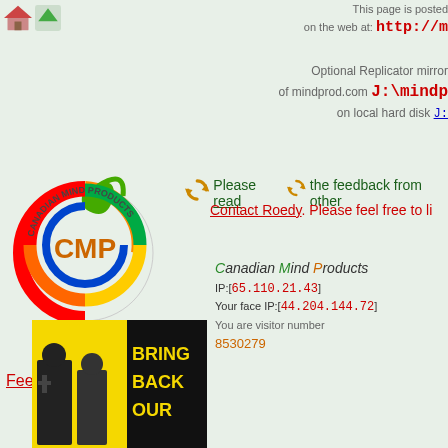[Figure (other): Navigation icons: house and up-arrow]
This page is posted on the web at: http://m...
Optional Replicator mirror of mindprod.com J:\mindp... on local hard disk J:
[Figure (logo): Canadian Mind Products rainbow spiral logo with CMP text]
Please read the feedback from other... Contact Roedy. Please feel free to li...
Canadian Mind Products IP:[65.110.21.43] Your face IP:[44.204.144.72] You are visitor number 8530279
Feedback
[Figure (photo): Banner image: BRING BACK OUR with people in yellow and black]